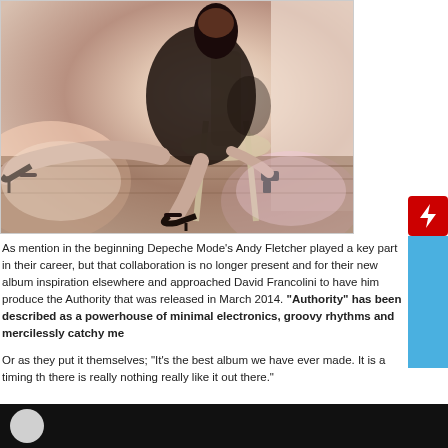[Figure (photo): Woman in black dress seated on a chair with legs crossed, holding a gun, dramatic stylized photo with warm pink/brown tones and wooden floor background]
As mention in the beginning Depeche Mode's Andy Fletcher played a key part in their career, but that collaboration is no longer present and for their new album inspiration elsewhere and approached David Francolini to have him produce the Authority that was released in March 2014. "Authority" has been described as a powerhouse of minimal electronics, groovy rhythms and mercilessly catchy me
Or as they put it themselves; "It's the best album we have ever made. It is a timing th there is really nothing really like it out there."